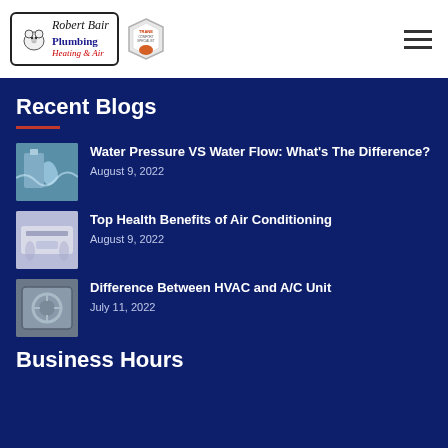[Figure (logo): Robert Bair Plumbing Heating & Air logo with polar bear, and Trane Comfort Specialist badge]
Recent Blogs
Water Pressure VS Water Flow: What's The Difference? — August 9, 2022
Top Health Benefits of Air Conditioning — August 9, 2022
Difference Between HVAC and A/C Unit — July 11, 2022
Business Hours